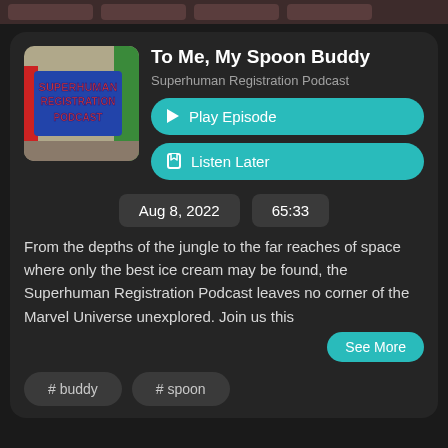[Figure (screenshot): Podcast app UI card for 'To Me, My Spoon Buddy' episode from Superhuman Registration Podcast with play/listen later buttons, date Aug 8 2022, duration 65:33, description text, and hashtag pills.]
To Me, My Spoon Buddy
Superhuman Registration Podcast
Play Episode
Listen Later
Aug 8, 2022
65:33
From the depths of the jungle to the far reaches of space where only the best ice cream may be found, the Superhuman Registration Podcast leaves no corner of the Marvel Universe unexplored. Join us this
See More
# buddy
# spoon